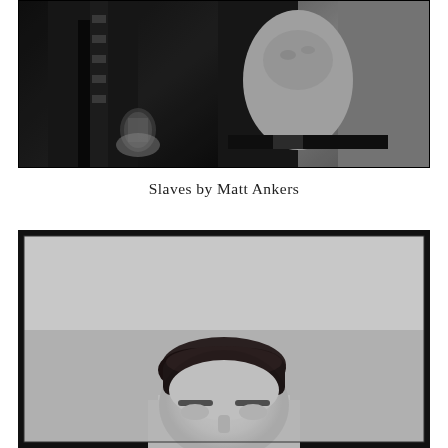[Figure (photo): Black and white photograph (cropped top portion visible): two men in dark suits, one holding a glass, the other with shirt open revealing torso, close-up dramatic lighting]
Slaves by Matt Ankers
[Figure (photo): Black and white photograph (bottom half of page): portrait of a man with dark hair, face partially visible from forehead to nose, light gray background, black border frame]